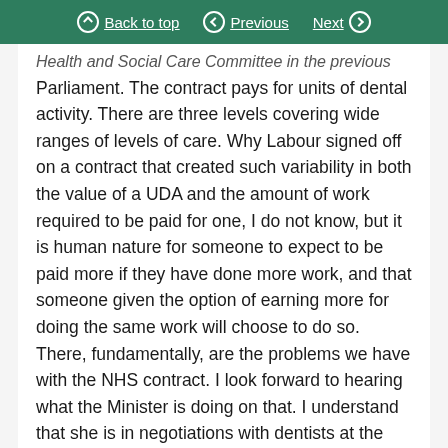Back to top | Previous | Next
Health and Social Care Committee in the previous Parliament. The contract pays for units of dental activity. There are three levels covering wide ranges of levels of care. Why Labour signed off on a contract that created such variability in both the value of a UDA and the amount of work required to be paid for one, I do not know, but it is human nature for someone to expect to be paid more if they have done more work, and that someone given the option of earning more for doing the same work will choose to do so. There, fundamentally, are the problems we have with the NHS contract. I look forward to hearing what the Minister is doing on that. I understand that she is in negotiations with dentists at the moment. I hope that she will be able to update the House on progress and that it will be